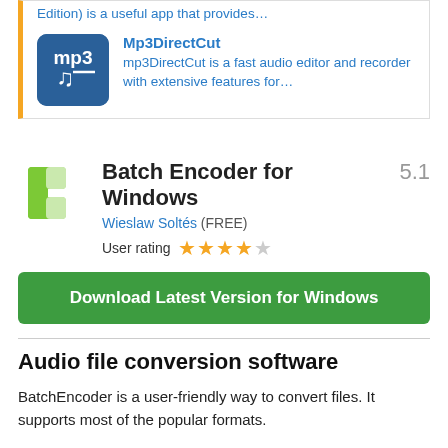Edition) is a useful app that provides…
Mp3DirectCut
mp3DirectCut is a fast audio editor and recorder with extensive features for…
Batch Encoder for Windows 5.1
Wieslaw Soltés (FREE)
User rating ★★★★☆
Download Latest Version for Windows
Audio file conversion software
BatchEncoder is a user-friendly way to convert files. It supports most of the popular formats.